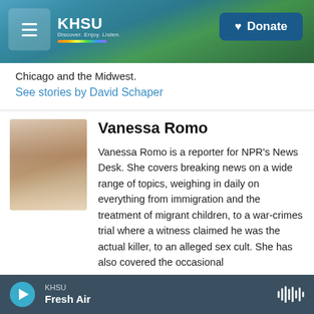KHSU | Donate
Chicago and the Midwest.
See stories by David Schaper
[Figure (photo): Headshot of Vanessa Romo, a woman with long brown hair, smiling, wearing a light blue top]
Vanessa Romo
Vanessa Romo is a reporter for NPR's News Desk. She covers breaking news on a wide range of topics, weighing in daily on everything from immigration and the treatment of migrant children, to a war-crimes trial where a witness claimed he was the actual killer, to an alleged sex cult. She has also covered the occasional
KHSU Fresh Air